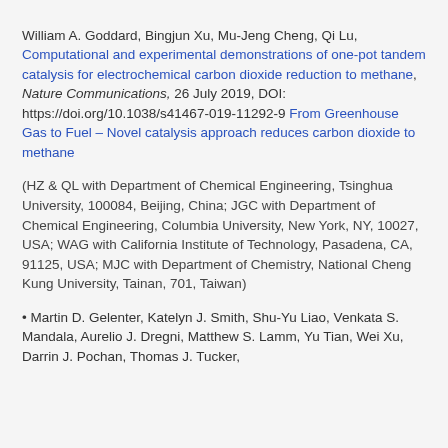William A. Goddard, Bingjun Xu, Mu-Jeng Cheng, Qi Lu, Computational and experimental demonstrations of one-pot tandem catalysis for electrochemical carbon dioxide reduction to methane, Nature Communications, 26 July 2019, DOI: https://doi.org/10.1038/s41467-019-11292-9 From Greenhouse Gas to Fuel – Novel catalysis approach reduces carbon dioxide to methane
(HZ & QL with Department of Chemical Engineering, Tsinghua University, 100084, Beijing, China; JGC with Department of Chemical Engineering, Columbia University, New York, NY, 10027, USA; WAG with California Institute of Technology, Pasadena, CA, 91125, USA; MJC with Department of Chemistry, National Cheng Kung University, Tainan, 701, Taiwan)
Martin D. Gelenter, Katelyn J. Smith, Shu-Yu Liao, Venkata S. Mandala, Aurelio J. Dregni, Matthew S. Lamm, Yu Tian, Wei Xu, Darrin J. Pochan, Thomas J. Tucker,